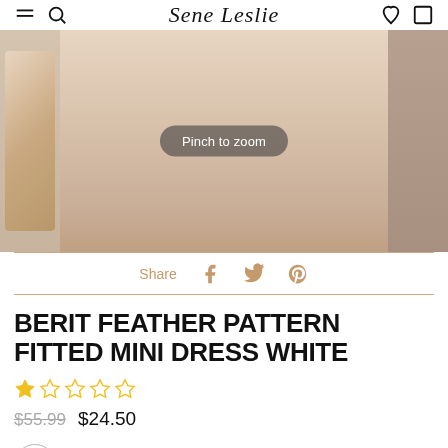Sene Leslie
[Figure (photo): Product photo carousel showing a model wearing strappy heeled sandals on a beige background, with thumbnail images on either side and a 'Pinch to zoom' overlay badge]
Share
BERIT FEATHER PATTERN FITTED MINI DRESS WHITE
★☆☆☆☆ (star rating, approximately 1 out of 5)
$55.99  $24.50
[Figure (other): White color swatch circle]